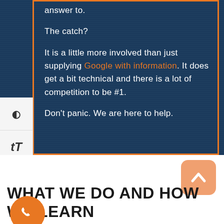answer to.
The catch?
It is a little more involved than just supplying Google with information. It does get a bit technical and there is a lot of competition to be #1.
Don't panic. We are here to help.
WHAT WE DO AND HOW WE LEARN